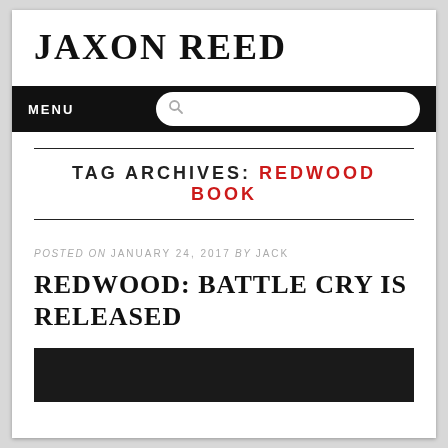JAXON REED
MENU
TAG ARCHIVES: REDWOOD BOOK
POSTED ON JANUARY 24, 2017 BY JACK
REDWOOD: BATTLE CRY IS RELEASED
[Figure (photo): Dark image at the bottom of the page, partially visible]